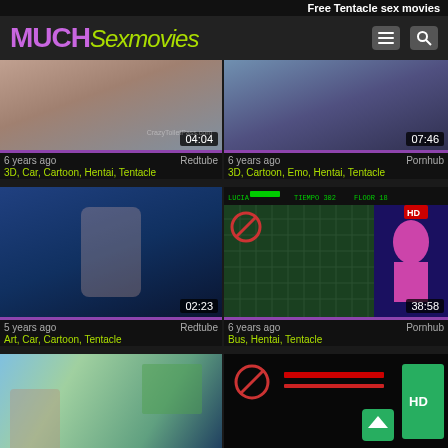Free Tentacle sex movies
MUCHSexmovies
[Figure (screenshot): Video thumbnail 1 - anime/3D content, duration 04:04]
6 years ago   Redtube
3D, Car, Cartoon, Hentai, Tentacle
[Figure (screenshot): Video thumbnail 2 - 3D animated content, duration 07:46]
6 years ago   Pornhub
3D, Cartoon, Emo, Hentai, Tentacle
[Figure (screenshot): Video thumbnail 3 - anime cartoon content, duration 02:23]
5 years ago   Redtube
Art, Car, Cartoon, Tentacle
[Figure (screenshot): Video thumbnail 4 - retro game style content HD, duration 38:58]
6 years ago   Pornhub
Bus, Hentai, Tentacle
[Figure (screenshot): Video thumbnail 5 - anime scene, partially visible]
[Figure (screenshot): Video thumbnail 6 - retro game / dark content, HD badge, partially visible]